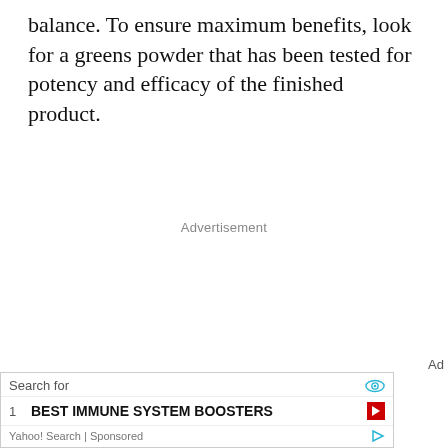balance. To ensure maximum benefits, look for a greens powder that has been tested for potency and efficacy of the finished product.
Advertisement
Ad
[Figure (other): Advertisement banner with search box showing 'Search for' label with eye icon, item '1 BEST IMMUNE SYSTEM BOOSTERS' with red arrow button, and 'Yahoo! Search | Sponsored' footer with blue arrow icon.]